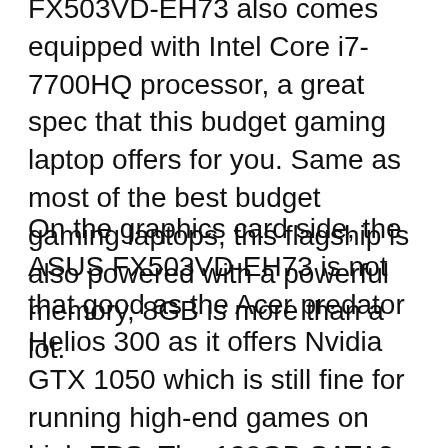FX503VD-EH73 also comes equipped with Intel Core i7-7700HQ processor, a great spec that this budget gaming laptop offers for you. Same as most of the best budget gaming laptops, this flagship is also powered with a powerful memory, 8GB is more than a lot.
On the graphics card side, the ASUS FX503VD-EH73 is not that good as the Acer predator Helios 300 as it offers Nvidia GTX 1050 which is still fine for running high-end games on high FPS. The 128GB SATA3 M.2 SSD + 1TB 5400RPM SATA HDD is more than a lot for a laptop under 900 and yes the FX503VD has it all for storing your games large data and still, it's better than Helios 300.